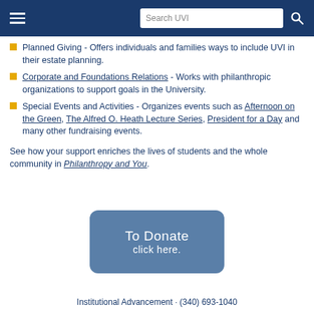Search UVI
Planned Giving - Offers individuals and families ways to include UVI in their estate planning.
Corporate and Foundations Relations - Works with philanthropic organizations to support goals in the University.
Special Events and Activities - Organizes events such as Afternoon on the Green, The Alfred O. Heath Lecture Series, President for a Day and many other fundraising events.
See how your support enriches the lives of students and the whole community in Philanthropy and You.
[Figure (other): Blue rounded rectangle button with white text reading 'To Donate click here.']
Institutional Advancement · (340) 693-1040